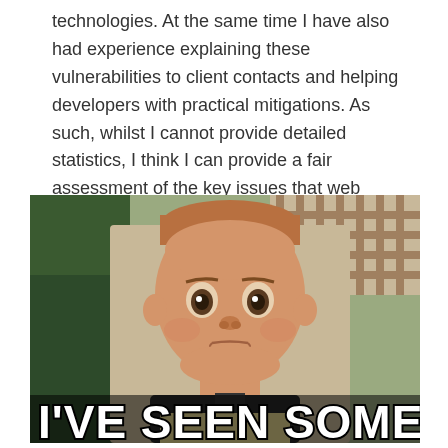technologies. At the same time I have also had experience explaining these vulnerabilities to client contacts and helping developers with practical mitigations. As such, whilst I cannot provide detailed statistics, I think I can provide a fair assessment of the key issues that web application developers are struggling with today.
[Figure (photo): Meme image of a stern-looking baby/toddler with a serious expression, with large bold white text at the bottom reading "I'VE SEEN SOME SHIT"]